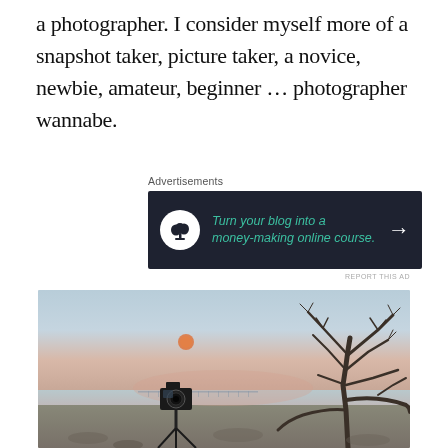a photographer. I consider myself more of a snapshot taker, picture taker, a novice, newbie, amateur, beginner … photographer wannabe.
Advertisements
[Figure (other): Advertisement banner with dark background: bonsai tree icon in white circle, teal italic text 'Turn your blog into a money-making online course.' with white arrow]
REPORT THIS AD
[Figure (photo): Outdoor dusk/twilight photograph showing a camera on a tripod at the edge of a calm lake or bay, with a large bare tree on the right side, a pier visible in the distance, and a faint orange-pink glow in the sky above the horizon.]